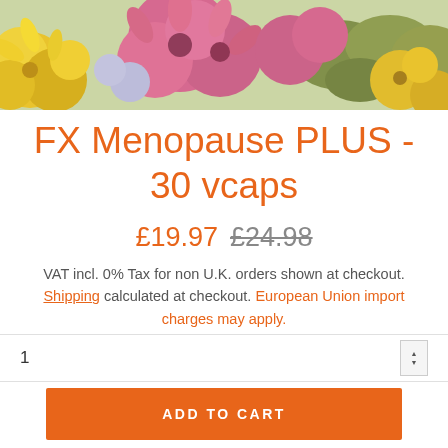[Figure (photo): Colorful flowers — yellow chrysanthemums, pink carnations, and green foliage — filling the top banner of the page.]
FX Menopause PLUS - 30 vcaps
£19.97  £24.98
VAT incl. 0% Tax for non U.K. orders shown at checkout. Shipping calculated at checkout. European Union import charges may apply.
1
ADD TO CART